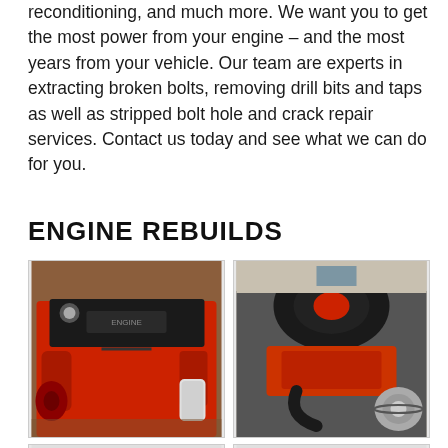reconditioning, and much more. We want you to get the most power from your engine – and the most years from your vehicle. Our team are experts in extracting broken bolts, removing drill bits and taps as well as stripped bolt hole and crack repair services. Contact us today and see what we can do for you.
ENGINE REBUILDS
[Figure (photo): Rebuilt red engine block with black valve cover, viewed from the front-left in a workshop setting]
[Figure (photo): Close-up of a rebuilt engine bay with red painted components, black air filter housing, and chrome/silver accessory drive components]
[Figure (photo): Partially visible engine rebuild photo, bottom-left of gallery]
[Figure (photo): Partially visible engine rebuild photo, bottom-right of gallery]